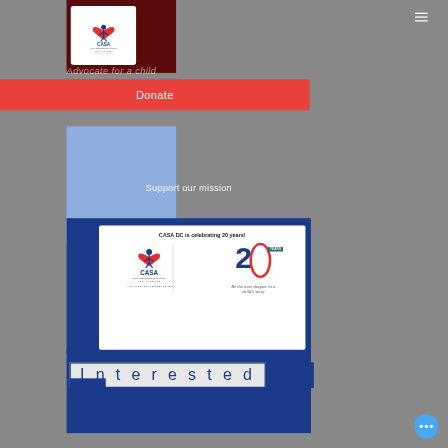[Figure (logo): CASA (Court Appointed Special Advocates for Children) Washington DC logo in white box on dark red header]
Advocate for a child
Donate
Support our mission
[Figure (infographic): CASA DC is celebrating 20 years! Card with CASA logo on left, large '20' with red C on right, 'Be the next chapter in a child's story' tagline]
Interested in